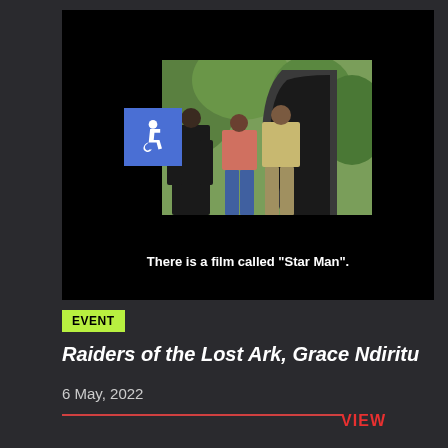[Figure (screenshot): Video player screenshot showing a film still with three people standing in front of a cave entrance in a natural outdoor setting, with subtitle text reading: There is a film called "Star Man".]
EVENT
Raiders of the Lost Ark, Grace Ndiritu
6 May, 2022
VIEW